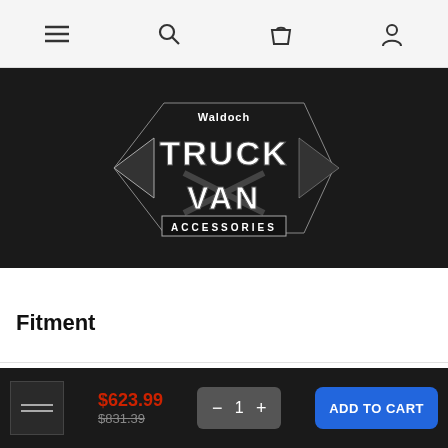Navigation bar with menu, search, cart, and account icons
[Figure (logo): Waldoch Truck Van Accessories logo in white text on black background with stylized truck/van graphic]
Fitment
| Year | | Make | | Model | | Submodel | | Body/Cab | | Fitment Notes | | Bed Type | Bed Le... |
| --- | --- | --- | --- | --- | --- | --- | --- |
$623.99  $831.39  − 1 +  ADD TO CART